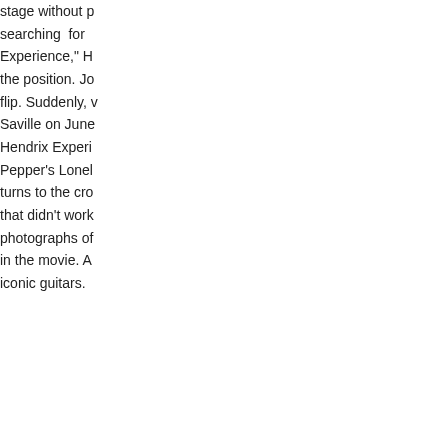stage without ... searching for ... Experience," H... the position. Jo... flip. Suddenly, v... Saville on June... Hendrix Experi... Pepper's Lonel... turns to the cro... that didn't work... photographs of ... in the movie. A... iconic guitars.
[Figure (photo): A woman in a black dress and black knee-high boots sitting on a white sofa/chair, holding an old-style telephone handset to her ear. She has short dark hair.]
JIMI: ALL IS BY... Benjamin; Ruth...